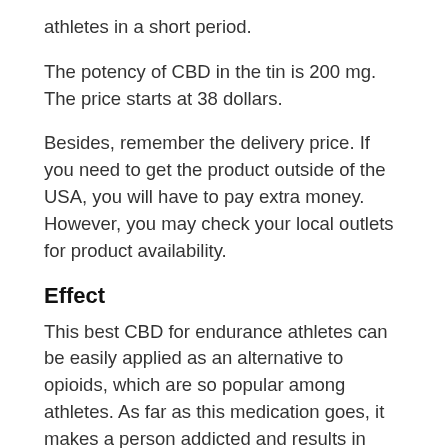athletes in a short period.
The potency of CBD in the tin is 200 mg. The price starts at 38 dollars.
Besides, remember the delivery price. If you need to get the product outside of the USA, you will have to pay extra money. However, you may check your local outlets for product availability.
Effect
This best CBD for endurance athletes can be easily applied as an alternative to opioids, which are so popular among athletes. As far as this medication goes, it makes a person addicted and results in